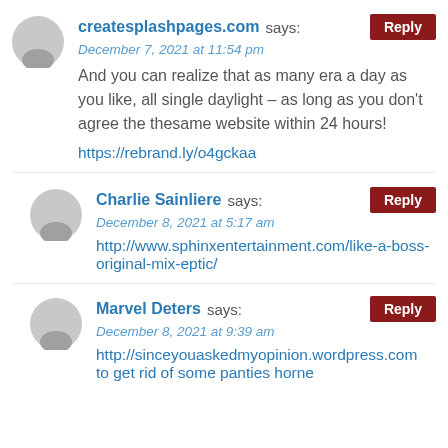createsplashpages.com says: December 7, 2021 at 11:54 pm
And you can realize that as many era a day as you like, all single daylight – as long as you don't agree the thesame website within 24 hours!
https://rebrand.ly/o4gckaa
Charlie Sainliere says: December 8, 2021 at 5:17 am
http://www.sphinxentertainment.com/like-a-boss-original-mix-eptic/
Marvel Deters says: December 8, 2021 at 9:39 am
http://sinceyouaskedmyopinion.wordpress.com to get rid of some panties horne